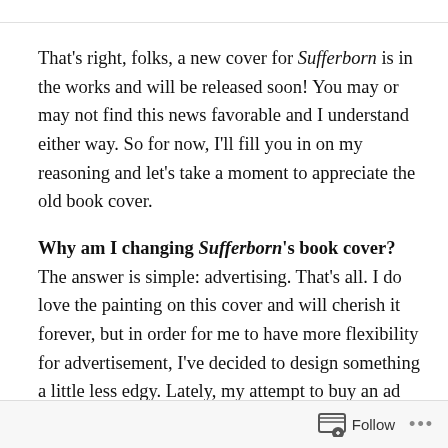That's right, folks, a new cover for Sufferborn is in the works and will be released soon! You may or may not find this news favorable and I understand either way. So for now, I'll fill you in on my reasoning and let's take a moment to appreciate the old book cover.
Why am I changing Sufferborn's book cover? The answer is simple: advertising. That's all. I do love the painting on this cover and will cherish it forever, but in order for me to have more flexibility for advertisement, I've decided to design something a little less edgy. Lately, my attempt to buy an ad was
Follow ...